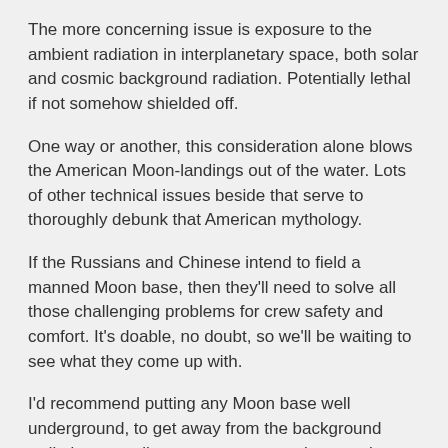The more concerning issue is exposure to the ambient radiation in interplanetary space, both solar and cosmic background radiation. Potentially lethal if not somehow shielded off.
One way or another, this consideration alone blows the American Moon-landings out of the water. Lots of other technical issues beside that serve to thoroughly debunk that American mythology.
If the Russians and Chinese intend to field a manned Moon base, then they'll need to solve all those challenging problems for crew safety and comfort. It's doable, no doubt, so we'll be waiting to see what they come up with.
I'd recommend putting any Moon base well underground, to get away from the background radiation as well as any stray meteorites or micro-meteorites coming in at 100 times the speed of a bullet.
Reply
Tomsen   on June 26, 2021  ·  at 9:28 pm EST/EDT
How do they deal with the radiation and the heat, considering the